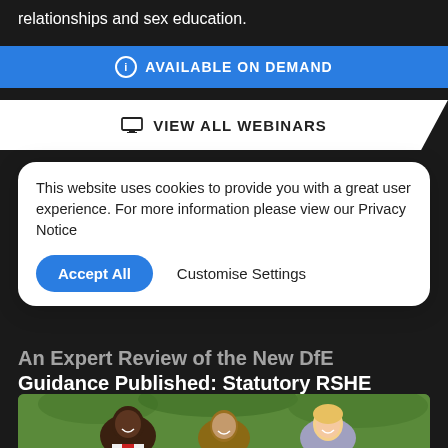relationships and sex education.
AVAILABLE ON DEMAND
VIEW ALL WEBINARS
This website uses cookies to provide you with a great user experience. For more information please view our Privacy Notice
Accept All
Customise Settings
An Expert Review of the New DfE Guidance Published: Statutory RSHE Curriculum | Primary
[Figure (photo): Three smiling children standing together outdoors, against a green leafy background. From left: a Black boy wearing a white and red outfit, a mixed-race boy in the center, and a blonde girl on the right.]